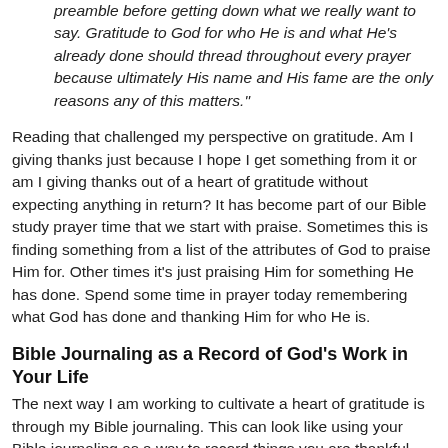preamble before getting down what we really want to say. Gratitude to God for who He is and what He's already done should thread throughout every prayer because ultimately His name and His fame are the only reasons any of this matters."
Reading that challenged my perspective on gratitude. Am I giving thanks just because I hope I get something from it or am I giving thanks out of a heart of gratitude without expecting anything in return? It has become part of our Bible study prayer time that we start with praise. Sometimes this is finding something from a list of the attributes of God to praise Him for. Other times it's just praising Him for something He has done. Spend some time in prayer today remembering what God has done and thanking Him for who He is.
Bible Journaling as a Record of God's Work in Your Life
The next way I am working to cultivate a heart of gratitude is through my Bible journaling. This can look like using your Bible journaling as a way to record things you are thankful